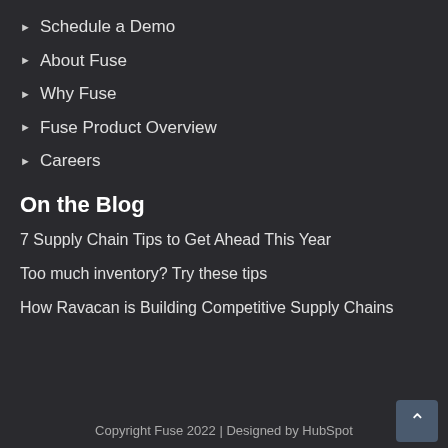Schedule a Demo
About Fuse
Why Fuse
Fuse Product Overview
Careers
On the Blog
7 Supply Chain Tips to Get Ahead This Year
Too much inventory? Try these tips
How Ravacan is Building Competitive Supply Chains
Copyright Fuse 2022 | Designed by HubSpot